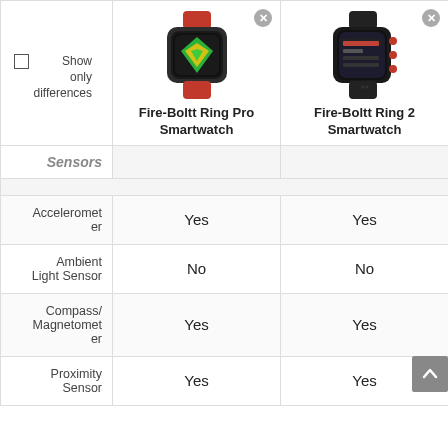|  | Fire-Boltt Ring Pro Smartwatch | Fire-Boltt Ring 2 Smartwatch |
| --- | --- | --- |
| Sensors |  |  |
| Accelerometer | Yes | Yes |
| Ambient Light Sensor | No | No |
| Compass/Magnetometer | Yes | Yes |
| Proximity Sensor | Yes | Yes |